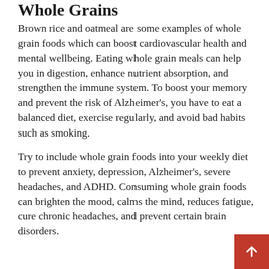Whole Grains
Brown rice and oatmeal are some examples of whole grain foods which can boost cardiovascular health and mental wellbeing. Eating whole grain meals can help you in digestion, enhance nutrient absorption, and strengthen the immune system. To boost your memory and prevent the risk of Alzheimer's, you have to eat a balanced diet, exercise regularly, and avoid bad habits such as smoking.
Try to include whole grain foods into your weekly diet to prevent anxiety, depression, Alzheimer's, severe headaches, and ADHD. Consuming whole grain foods can brighten the mood, calms the mind, reduces fatigue, cure chronic headaches, and prevent certain brain disorders.